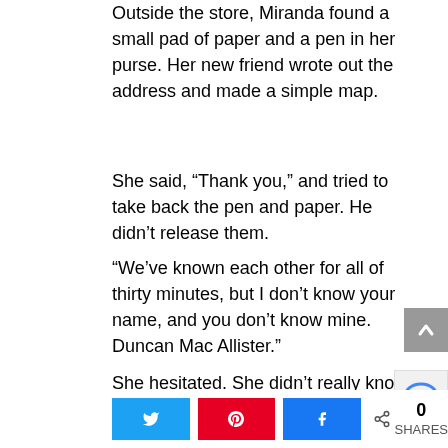Outside the store, Miranda found a small pad of paper and a pen in her purse. Her new friend wrote out the address and made a simple map.
She said, “Thank you,” and tried to take back the pen and paper. He didn’t release them.
“We’ve known each other for all of thirty minutes, but I don’t know your name, and you don’t know mine. Duncan Mac Allister.”
She hesitated. She didn’t really know this man. Although he seemed harmless, she didn’t know anyone in Center City that she could turn to for help. Except the police, of course.
[Figure (other): Social share buttons row: Twitter (blue), Pinterest (red), Facebook (blue), and a share count showing 0 SHARES]